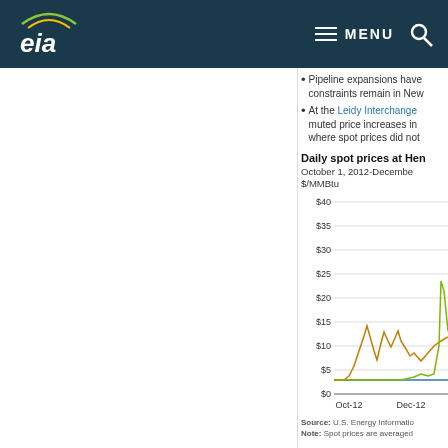EIA — MENU [navigation bar]
Pipeline expansions have... constraints remain in Ne...
At the Leidy Interchange... muted price increases in... where spot prices did not...
Daily spot prices at Hen... October 1, 2012-December... $/MMBtu
[Figure (line-chart): Daily spot prices at Henry Hub, October 1, 2012-December 2012]
Source: U.S. Energy Informatio... Note: Spot prices are averaged...